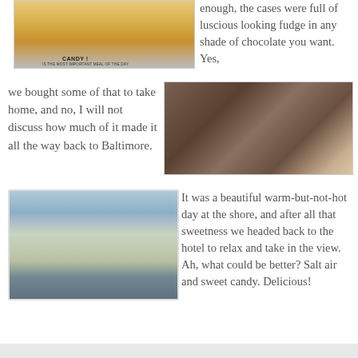[Figure (photo): A candy store banner sign reading CANDY! with text about breakfast being the most important meal of the day]
enough, the cases were full of luscious looking fudge in any shade of chocolate you want. Yes,
we bought some of that to take home, and no, I will not discuss how much of it made it all the way back to Baltimore.
[Figure (photo): Display case showing various fudge and chocolate confections in glass jars and trays]
[Figure (photo): Beach scene with ocean waves, sand, and beach umbrellas and palm trees in the foreground]
It was a beautiful warm-but-not-hot day at the shore, and after all that sweetness we headed back to the hotel to relax and take in the view. Ah, what could be better? Salt air and sweet candy. Delicious!